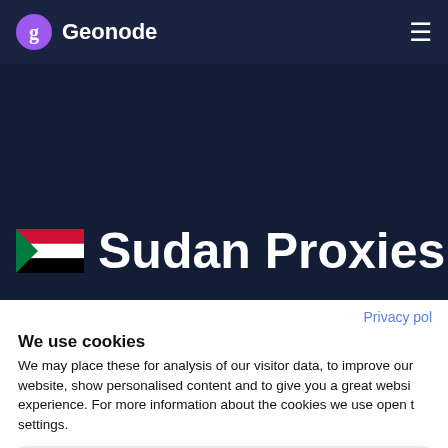Geonode
Sudan Proxies
Privacy pol
We use cookies
We may place these for analysis of our visitor data, to improve our website, show personalised content and to give you a great website experience. For more information about the cookies we use open the settings.
No, adjust
Ok, continue